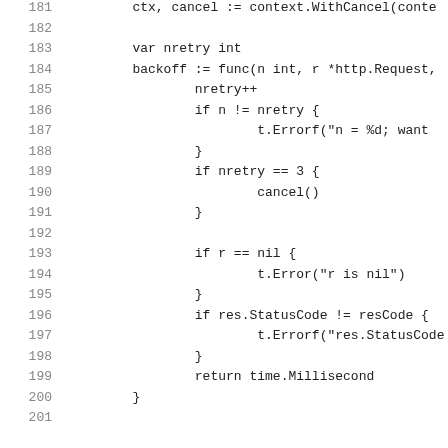181   ctx, cancel := context.WithCancel(conte
182   
183       var nretry int
184       backoff := func(n int, r *http.Request,
185               nretry++
186               if n != nretry {
187                       t.Errorf("n = %d; want 
188               }
189               if nretry == 3 {
190                       cancel()
191               }
192   
193               if r == nil {
194                       t.Error("r is nil")
195               }
196               if res.StatusCode != resCode {
197                       t.Errorf("res.StatusCode
198               }
199               return time.Millisecond
200       }
201